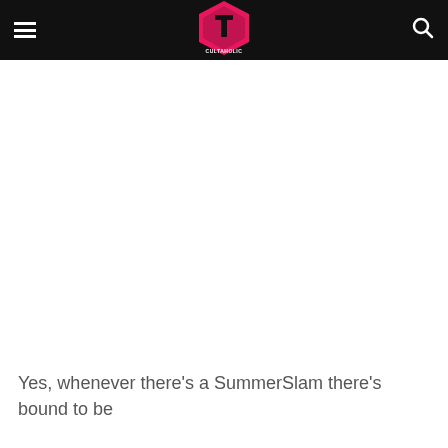Cultaholic — navigation header with hamburger menu, logo, and search icon
Yes, whenever there's a SummerSlam there's bound to be